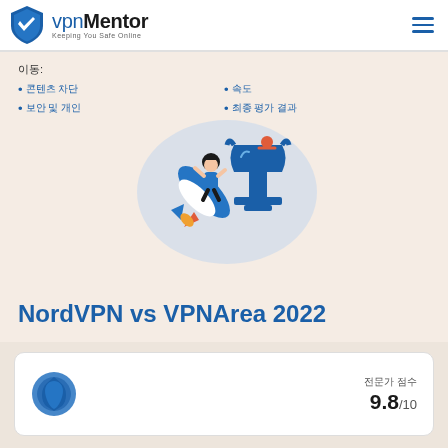vpnMentor — Keeping You Safe Online
이동:
콘텐츠 차단
속도
보안 및 개인
최종 평가 결과
[Figure (illustration): Illustration of a person riding a rocket next to a trophy cup, on a light blue teardrop background. Represents VPN comparison competition.]
NordVPN vs VPNArea 2022
[Figure (logo): NordVPN logo — blue shield/arc shape]
전문가 점수 9.8/10